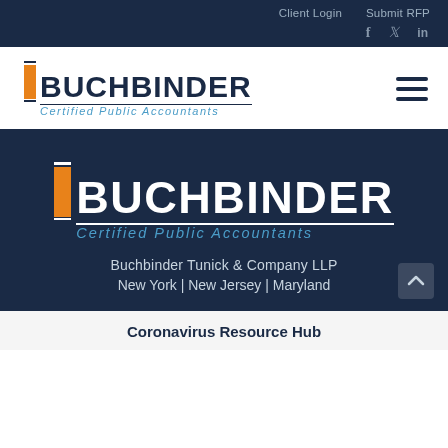Client Login   Submit RFP
[Figure (logo): Buchbinder Certified Public Accountants logo with orange vertical bar accent, dark navy text and light blue italic tagline]
[Figure (logo): Buchbinder Certified Public Accountants logo (large version) on dark navy background with orange vertical bar accent, white text and blue italic tagline]
Buchbinder Tunick & Company LLP
New York | New Jersey | Maryland
Coronavirus Resource Hub